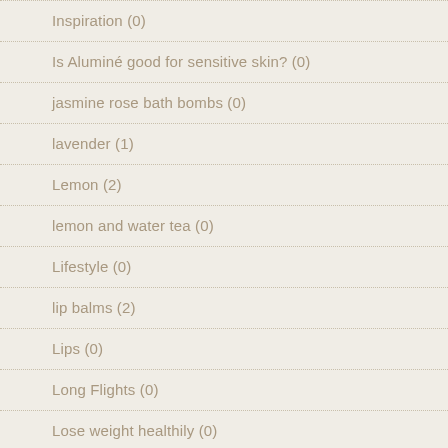Inspiration (0)
Is Aluminé good for sensitive skin? (0)
jasmine rose bath bombs (0)
lavender (1)
Lemon (2)
lemon and water tea (0)
Lifestyle (0)
lip balms (2)
Lips (0)
Long Flights (0)
Lose weight healthily (0)
Love Your Uniqueness. (1)
Make Up? (0)